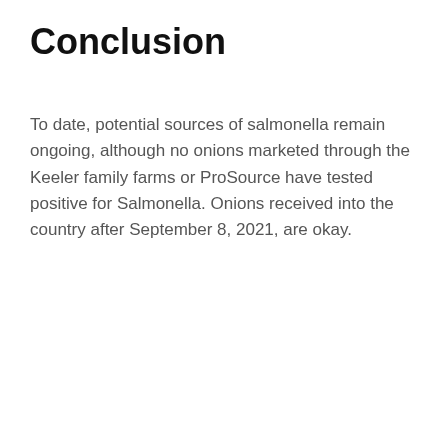Conclusion
To date, potential sources of salmonella remain ongoing, although no onions marketed through the Keeler family farms or ProSource have tested positive for Salmonella. Onions received into the country after September 8, 2021, are okay.